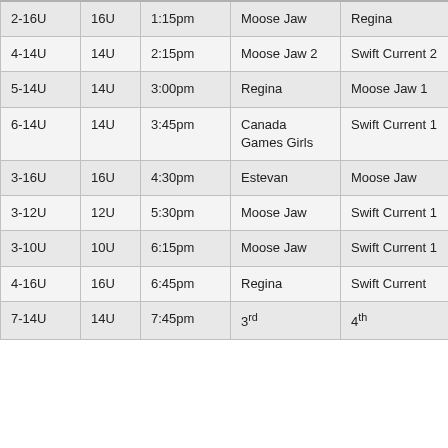| 2-16U | 16U | 1:15pm | Moose Jaw | Regina |
| 4-14U | 14U | 2:15pm | Moose Jaw 2 | Swift Current 2 |
| 5-14U | 14U | 3:00pm | Regina | Moose Jaw 1 |
| 6-14U | 14U | 3:45pm | Canada Games Girls | Swift Current 1 |
| 3-16U | 16U | 4:30pm | Estevan | Moose Jaw |
| 3-12U | 12U | 5:30pm | Moose Jaw | Swift Current 1 |
| 3-10U | 10U | 6:15pm | Moose Jaw | Swift Current 1 |
| 4-16U | 16U | 6:45pm | Regina | Swift Current |
| 7-14U | 14U | 7:45pm | 3rd | 4th |